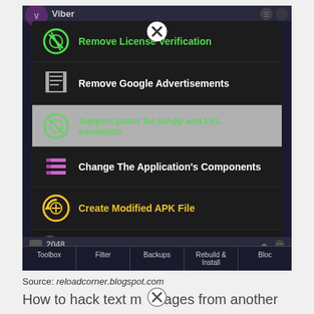[Figure (screenshot): Android app (Lucky Patcher) screenshot showing a menu popup with options: Remove License Verification (green icon), Remove Google Advertisements (trash icon), Support patch for InApp and LVL emulation (greyed/highlighted), Change The Application's Components (purple list icon), Create Modified APK File (yellow icon), Manual Patcher (AE 1D / EX 2F text icon). Below the popup: Move to /sdcard option, Walk Band app entry with Google advertisements found and InApp purchases found text, partial 2048 app row, and a bottom navigation bar with Toolbox, Filter, Backups, Rebuild & Install, Block tabs.]
Source: reloadcorner.blogspot.com
How to hack text messages from another